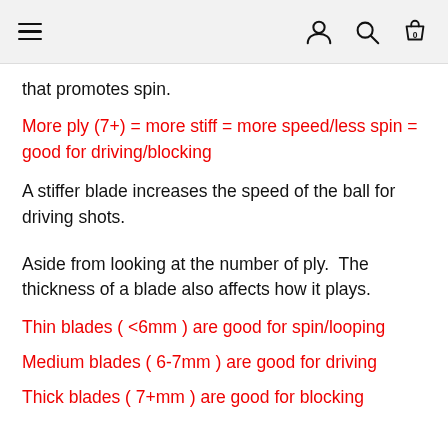Navigation bar with hamburger menu, user icon, search icon, and cart icon (0)
that promotes spin.
More ply (7+) = more stiff = more speed/less spin = good for driving/blocking
A stiffer blade increases the speed of the ball for driving shots.
Aside from looking at the number of ply.  The thickness of a blade also affects how it plays.
Thin blades ( <6mm ) are good for spin/looping
Medium blades ( 6-7mm ) are good for driving
Thick blades ( 7+mm ) are good for blocking